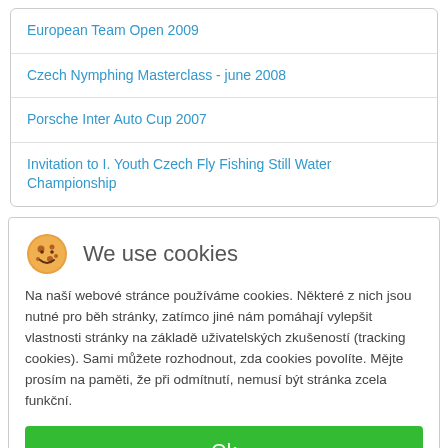European Team Open 2009
Czech Nymphing Masterclass - june 2008
Porsche Inter Auto Cup 2007
Invitation to I. Youth Czech Fly Fishing Still Water Championship
We use cookies
Na naší webové stránce používáme cookies. Některé z nich jsou nutné pro běh stránky, zatímco jiné nám pomáhají vylepšit vlastnosti stránky na základě uživatelských zkušeností (tracking cookies). Sami můžete rozhodnout, zda cookies povolíte. Mějte prosím na paměti, že při odmítnutí, nemusí být stránka zcela funkční.
Ok
Nesouhlasím